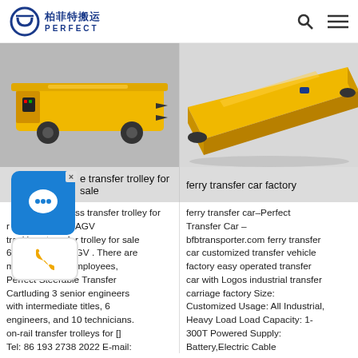柏菲特搬运 PERFECT
[Figure (photo): Yellow trackless transfer trolley vehicle on gray floor, side view]
[Figure (photo): Yellow ferry transfer car on gray floor, top-angled view]
trackless transfer trolley for sale
ferry transfer car factory
trackless transfer trolley for sale 6 tons–Perfect AGV trackless transfer trolley for sale 6 tons–Perfect AGV . There are more than 100 employees, Perfect Steerable Transfer Cartluding 3 senior engineers with intermediate titles, 6 engineers, and 10 technicians. on-rail transfer trolleys for [] Tel: 86 193 2738 2022 E-mail:
ferry transfer car–Perfect Transfer Car – bfbtransporter.com ferry transfer car customized transfer vehicle factory easy operated transfer car with Logos industrial transfer carriage factory Size: Customized Usage: All Industrial, Heavy Load Load Capacity: 1-300T Powered Supply: Battery,Electric Cable